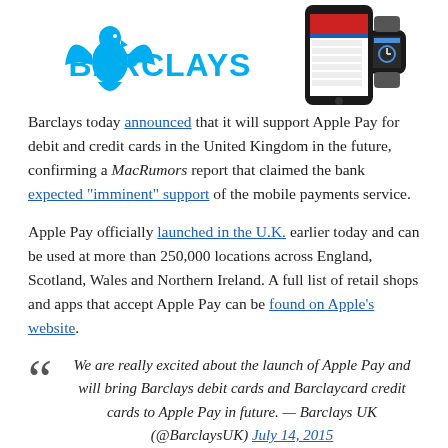[Figure (logo): Barclays logo (eagle and BARCLAYS text) alongside a smartphone and smartwatch displaying an app interface]
Barclays today announced that it will support Apple Pay for debit and credit cards in the United Kingdom in the future, confirming a MacRumors report that claimed the bank expected "imminent" support of the mobile payments service.
Apple Pay officially launched in the U.K. earlier today and can be used at more than 250,000 locations across England, Scotland, Wales and Northern Ireland. A full list of retail shops and apps that accept Apple Pay can be found on Apple's website.
We are really excited about the launch of Apple Pay and will bring Barclays debit cards and Barclaycard credit cards to Apple Pay in future. — Barclays UK (@BarclaysUK) July 14, 2015
Apple has also updated its Apple Pay participating banks list in the U.K. and moved First Direct and HSBC to the "coming soon" section. First Direct has confirmed on Twitter that Apple...